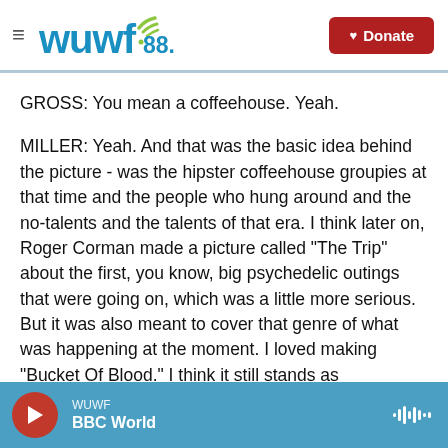WUWF 88.1 | Donate
GROSS: You mean a coffeehouse. Yeah.
MILLER: Yeah. And that was the basic idea behind the picture - was the hipster coffeehouse groupies at that time and the people who hung around and the no-talents and the talents of that era. I think later on, Roger Corman made a picture called "The Trip" about the first, you know, big psychedelic outings that were going on, which was a little more serious. But it was also meant to cover that genre of what was happening at the moment. I loved making "Bucket Of Blood." I think it still stands as
WUWF | BBC World